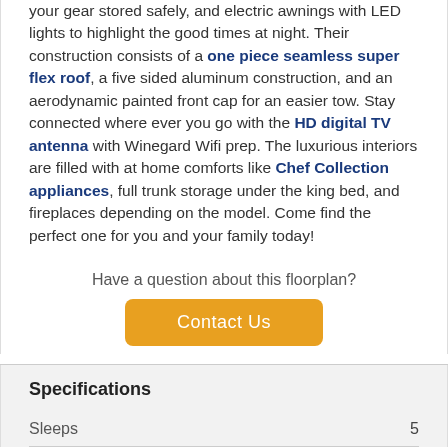your gear stored safely, and electric awnings with LED lights to highlight the good times at night. Their construction consists of a one piece seamless super flex roof, a five sided aluminum construction, and an aerodynamic painted front cap for an easier tow. Stay connected where ever you go with the HD digital TV antenna with Winegard Wifi prep. The luxurious interiors are filled with at home comforts like Chef Collection appliances, full trunk storage under the king bed, and fireplaces depending on the model. Come find the perfect one for you and your family today!
Have a question about this floorplan?
Contact Us
Specifications
|  |  |
| --- | --- |
| Sleeps | 5 |